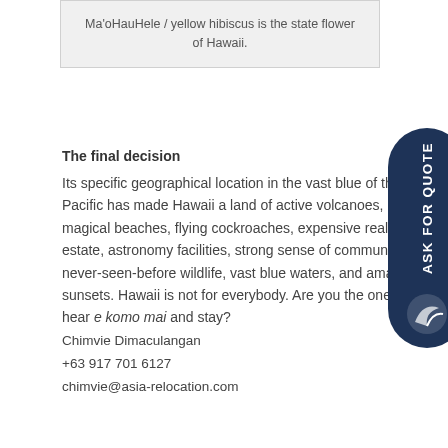Ma'oHauHele / yellow hibiscus is the state flower of Hawaii.
The final decision
Its specific geographical location in the vast blue of the Pacific has made Hawaii a land of active volcanoes, magical beaches, flying cockroaches, expensive real estate, astronomy facilities, strong sense of community, never-seen-before wildlife, vast blue waters, and amazing sunsets. Hawaii is not for everybody. Are you the one to hear e komo mai and stay?
Chimvie Dimaculangan
+63 917 701 6127
chimvie@asia-relocation.com